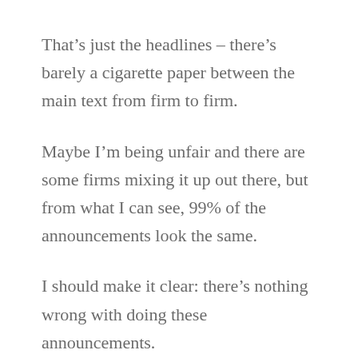That’s just the headlines – there’s barely a cigarette paper between the main text from firm to firm.
Maybe I’m being unfair and there are some firms mixing it up out there, but from what I can see, 99% of the announcements look the same.
I should make it clear: there’s nothing wrong with doing these announcements.
I’ve prepared hundreds of such summaries, press releases and internal announcements over the years, and it’s a period of that